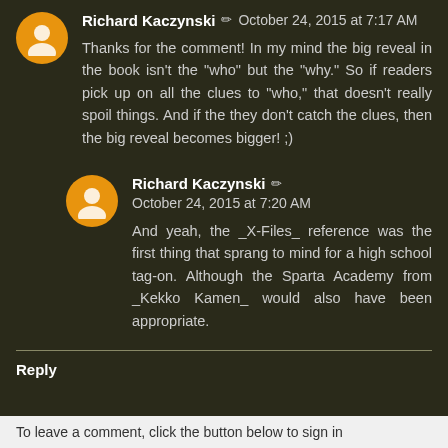Richard Kaczynski ✏ October 24, 2015 at 7:17 AM
Thanks for the comment! In my mind the big reveal in the book isn't the "who" but the "why." So if readers pick up on all the clues to "who," that doesn't really spoil things. And if the they don't catch the clues, then the big reveal becomes bigger! ;)
Richard Kaczynski ✏ October 24, 2015 at 7:20 AM
And yeah, the _X-Files_ reference was the first thing that sprang to mind for a high school tag-on. Although the Sparta Academy from _Kekko Kamen_ would also have been appropriate.
Reply
To leave a comment, click the button below to sign in